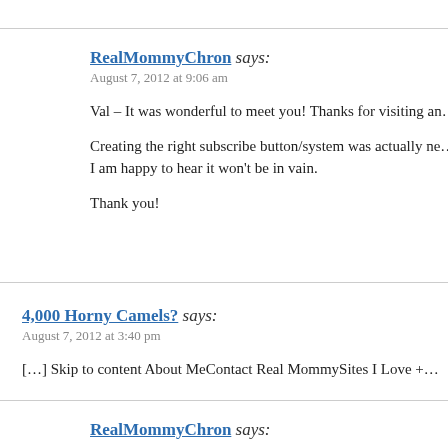RealMommyChron says:
August 7, 2012 at 9:06 am

Val – It was wonderful to meet you! Thanks for visiting an…

Creating the right subscribe button/system was actually ne… I am happy to hear it won't be in vain.

Thank you!
4,000 Horny Camels? says:
August 7, 2012 at 3:40 pm

[…] Skip to content About MeContact Real MommySites I Love +…
RealMommyChron says: